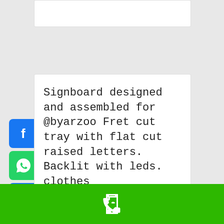[Figure (screenshot): Partially visible white card at top of page]
[Figure (infographic): Left-side floating social share buttons: Facebook (blue), WhatsApp (green), Share/Plus (blue)]
Signboard designed and assembled for @byarzoo Fret cut tray with flat cut raised letters. Backlit with leds. clothes
By admin | February 9th, 2022
[Figure (infographic): Inline social share buttons: Facebook (blue), WhatsApp (green), Share/Plus (blue)]
Read More >
Comments Off on Signboard designed...
[Figure (infographic): Green bottom bar with white phone icon]